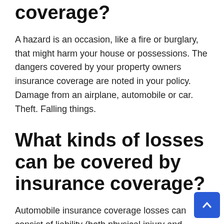coverage?
A hazard is an occasion, like a fire or burglary, that might harm your house or possessions. The dangers covered by your property owners insurance coverage are noted in your policy. Damage from an airplane, automobile or car. Theft. Falling things.
What kinds of losses can be covered by insurance coverage?
Automobile insurance coverage losses can consist of liability (both physical injury and residential or commercial property damage),